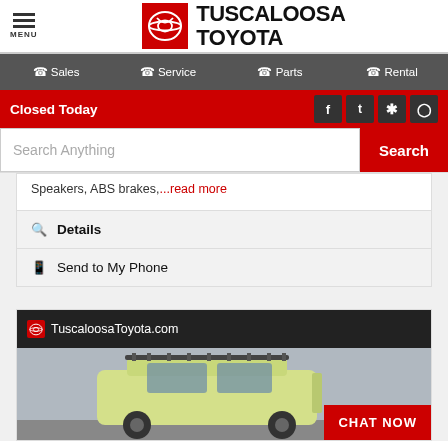[Figure (logo): Tuscaloosa Toyota dealership website header with hamburger menu, Toyota logo badge in red square, and TUSCALOOSA TOYOTA text]
Sales | Service | Parts | Rental
Closed Today
[Figure (screenshot): Search bar with 'Search Anything' placeholder and red Search button]
Speakers, ABS brakes,...read more
Details
Send to My Phone
[Figure (photo): Tuscaloosa Toyota vehicle listing card showing a yellow/green SUV with roof rack from rear angle, dealer URL bar at top with logo and TuscaloosaToyota.com, and CHAT NOW red button at bottom right]